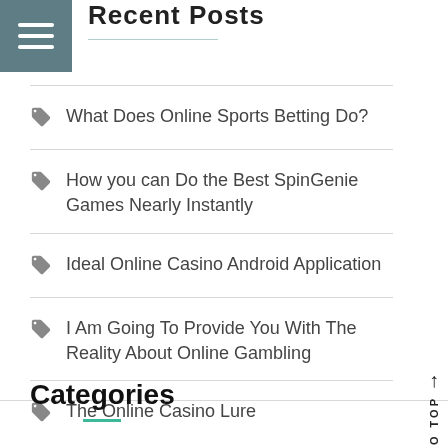Recent Posts
What Does Online Sports Betting Do?
How you can Do the Best SpinGenie Games Nearly Instantly
Ideal Online Casino Android Application
I Am Going To Provide You With The Reality About Online Gambling
The Online Casino Lure
Categories